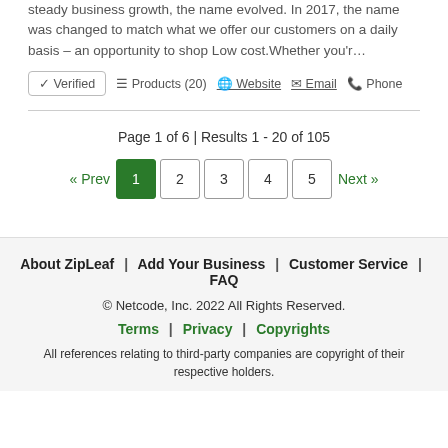steady business growth, the name evolved. In 2017, the name was changed to match what we offer our customers on a daily basis – an opportunity to shop Low cost.Whether you'r…
✔ Verified  ≡ Products (20)  🌐 Website  ✉ Email  📞 Phone
Page 1 of 6 | Results 1 - 20 of 105
« Prev  1  2  3  4  5  Next »
About ZipLeaf  |  Add Your Business  |  Customer Service  |  FAQ
© Netcode, Inc. 2022 All Rights Reserved.
Terms  |  Privacy  |  Copyrights
All references relating to third-party companies are copyright of their respective holders.